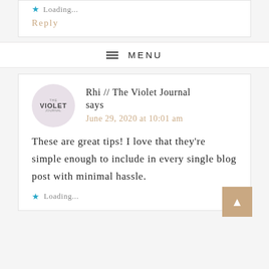★ Loading...
Reply
≡ MENU
Rhi // The Violet Journal says
June 29, 2020 at 10:01 am
These are great tips! I love that they're simple enough to include in every single blog post with minimal hassle.
★ Loading...